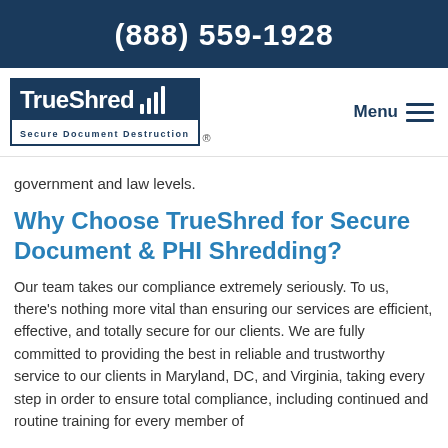(888) 559-1928
[Figure (logo): TrueShred Secure Document Destruction logo with blue background and vertical bar graphic]
government and law levels.
Why Choose TrueShred for Secure Document & PHI Shredding?
Our team takes our compliance extremely seriously. To us, there's nothing more vital than ensuring our services are efficient, effective, and totally secure for our clients. We are fully committed to providing the best in reliable and trustworthy service to our clients in Maryland, DC, and Virginia, taking every step in order to ensure total compliance, including continued and routine training for every member of